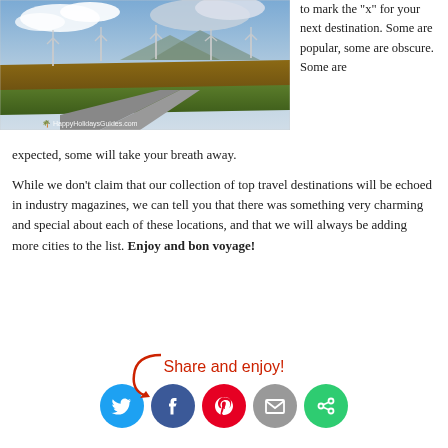[Figure (photo): Landscape photo of countryside with wind turbines in background, road and green grass in foreground, cloudy sky. Watermark: HappyHolidaysGuides.com]
to mark the "x" for your next destination. Some are popular, some are obscure. Some are expected, some will take your breath away.
While we don't claim that our collection of top travel destinations will be echoed in industry magazines, we can tell you that there was something very charming and special about each of these locations, and that we will always be adding more cities to the list. Enjoy and bon voyage!
[Figure (infographic): Share and enjoy! text in red handwritten style with a curved red arrow, followed by social media icon buttons: Twitter (blue), Facebook (dark blue), Pinterest (red), Email (grey), ShareMore (green)]